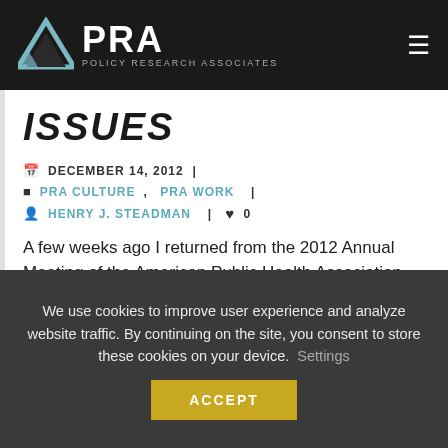PRA — Policy Research Associates
ISSUES
DECEMBER 14, 2012  |
PRA CULTURE,  PRA WORK  |
HENRY J. STEADMAN  |  ♥ 0
A few weeks ago I returned from the 2012 Annual Meeting of the American Public Health Association.  After attending a variety
We use cookies to improve user experience and analyze website traffic. By continuing on the site, you consent to store these cookies on your device.   Settings
ACCEPT